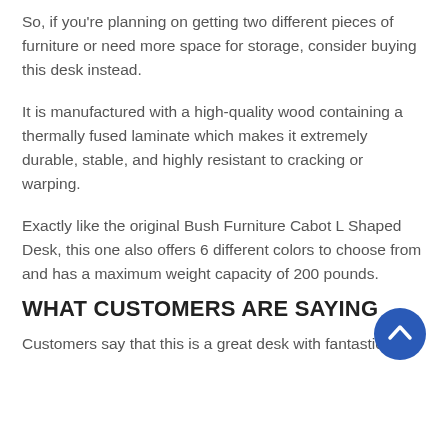So, if you're planning on getting two different pieces of furniture or need more space for storage, consider buying this desk instead.
It is manufactured with a high-quality wood containing a thermally fused laminate which makes it extremely durable, stable, and highly resistant to cracking or warping.
Exactly like the original Bush Furniture Cabot L Shaped Desk, this one also offers 6 different colors to choose from and has a maximum weight capacity of 200 pounds.
WHAT CUSTOMERS ARE SAYING
Customers say that this is a great desk with fantastic